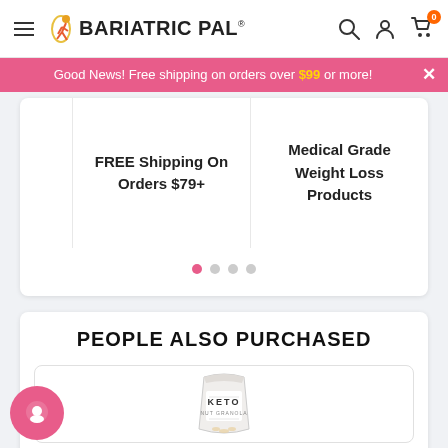BariatricPal
Good News! Free shipping on orders over $99 or more!
FREE Shipping On Orders $79+
Medical Grade Weight Loss Products
PEOPLE ALSO PURCHASED
[Figure (photo): Keto Nut Granola product bag]